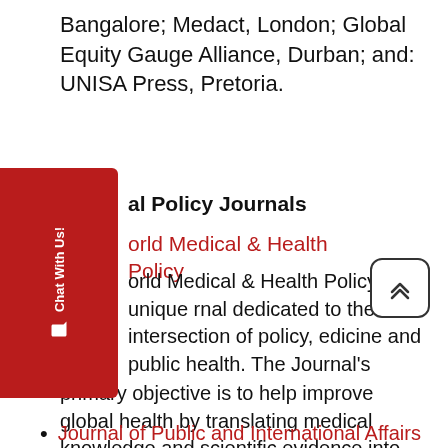Bangalore; Medact, London; Global Equity Gauge Alliance, Durban; and: UNISA Press, Pretoria.
al Policy Journals
orld Medical & Health Policy
orld Medical & Health Policy is a unique rnal dedicated to the intersection of policy, edicine and public health. The Journal's primary objective is to help improve global health by translating medical knowledge and scientific evidence into the normative function of policy.
Journal of Public and International Affairs